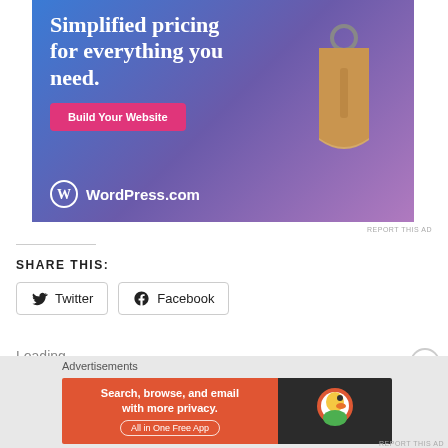[Figure (illustration): WordPress.com advertisement banner with gradient blue-purple background, text 'Simplified pricing for everything you need.', a pink 'Build Your Website' button, a price tag graphic, and WordPress.com logo at bottom left.]
REPORT THIS AD
SHARE THIS:
Twitter  Facebook
Loading…
Advertisements
[Figure (illustration): DuckDuckGo advertisement banner with orange left panel saying 'Search, browse, and email with more privacy. All in One Free App' and dark right panel with DuckDuckGo logo.]
REPORT THIS AD